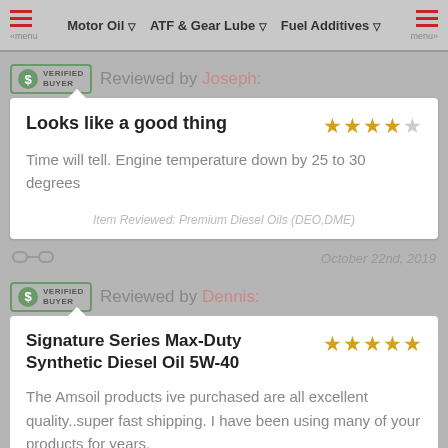Motor Oil | ATF & Gear Lube | Fuel Additives
Reviewed by Joseph:
Looks like a good thing
Time will tell. Engine temperature down by 25 to 30 degrees
Item Reviewed: Premium Diesel Oils (DEO,DME)
October 22nd, 2019
Reviewed by Dennis:
Signature Series Max-Duty Synthetic Diesel Oil 5W-40
The Amsoil products ive purchased are all excellent quality..super fast shipping. I have been using many of your products for years. The only flaw is that you…